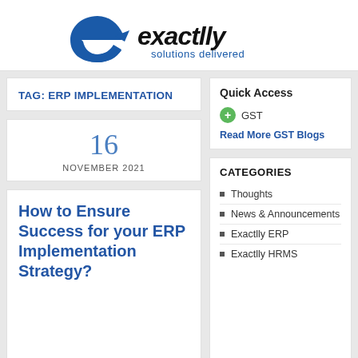[Figure (logo): Exactlly solutions delivered logo with blue stylized 'e' and arrow icon and black/blue text]
TAG: ERP IMPLEMENTATION
16
NOVEMBER 2021
How to Ensure Success for your ERP Implementation Strategy?
Quick Access
GST
Read More GST Blogs
CATEGORIES
Thoughts
News & Announcements
Exactlly ERP
Exactlly HRMS